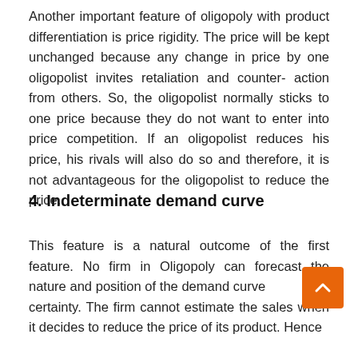Another important feature of oligopoly with product differentiation is price rigidity. The price will be kept unchanged because any change in price by one oligopolist invites retaliation and counter- action from others. So, the oligopolist normally sticks to one price because they do not want to enter into price competition. If an oligopolist reduces his price, his rivals will also do so and therefore, it is not advantageous for the oligopolist to reduce the price.
4. Indeterminate demand curve
This feature is a natural outcome of the first feature. No firm in Oligopoly can forecast the nature and position of the demand curve with certainty. The firm cannot estimate the sales when it decides to reduce the price of its product. Hence